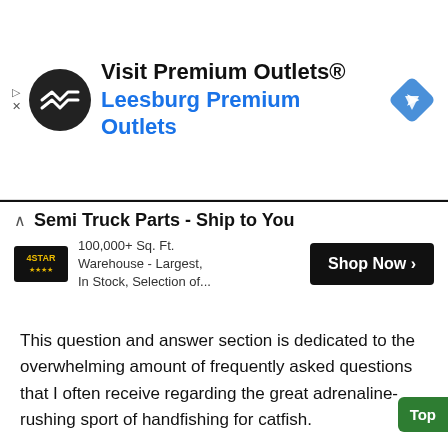[Figure (screenshot): Advertisement banner: Visit Premium Outlets® / Leesburg Premium Outlets with circular logo and blue diamond nav icon]
[Figure (screenshot): Advertisement: Semi Truck Parts - Ship to You, 4Star logo, 100,000+ Sq. Ft. Warehouse - Largest, In Stock, Selection of..., Shop Now button]
This question and answer section is dedicated to the overwhelming amount of frequently asked questions that I often receive regarding the great adrenaline-rushing sport of handfishing for catfish.
Just about every week I receive questions through my contact page and e-mails about catfish noodling... mostly regarding information about noodling for catfish with emphasis on...